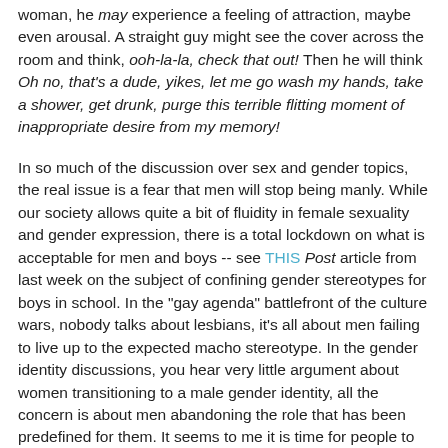woman, he may experience a feeling of attraction, maybe even arousal. A straight guy might see the cover across the room and think, ooh-la-la, check that out! Then he will think Oh no, that's a dude, yikes, let me go wash my hands, take a shower, get drunk, purge this terrible flitting moment of inappropriate desire from my memory!
In so much of the discussion over sex and gender topics, the real issue is a fear that men will stop being manly. While our society allows quite a bit of fluidity in female sexuality and gender expression, there is a total lockdown on what is acceptable for men and boys -- see THIS Post article from last week on the subject of confining gender stereotypes for boys in school. In the "gay agenda" battlefront of the culture wars, nobody talks about lesbians, it's all about men failing to live up to the expected macho stereotype. In the gender identity discussions, you hear very little argument about women transitioning to a male gender identity, all the concern is about men abandoning the role that has been predefined for them. It seems to me it is time for people to lighten up, give guys a little breathing room, most guys are going to be straight and relatively "masculine" no matter